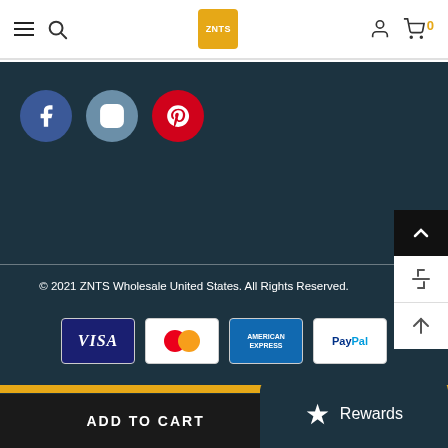[Figure (screenshot): Website header with hamburger menu, search icon, ZNTS logo (gold square), user icon, and shopping cart with orange 0 badge]
[Figure (illustration): Three social media icons: Facebook (blue circle with f), Instagram (blue-grey circle with camera), Pinterest (red circle with p)]
[Figure (illustration): Right-side scroll panel with black scroll-to-top button (chevron up), white return/reload icon, and white up-arrow icon]
© 2021 ZNTS Wholesale United States. All Rights Reserved.
[Figure (illustration): Payment method icons: Visa, Mastercard, American Express, PayPal]
[Figure (illustration): Add to Cart button and Rewards button at bottom of page]